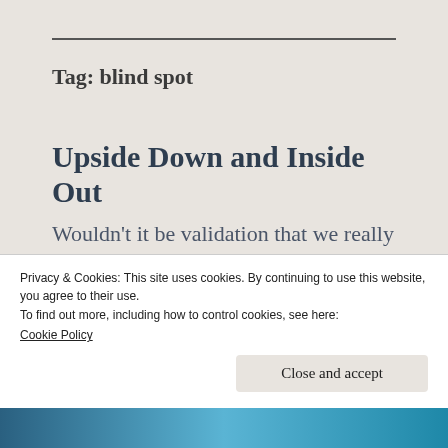Tag: blind spot
Upside Down and Inside Out
Wouldn’t it be validation that we really have evolved as a species if we took responsibility for our own causal actions?
Privacy & Cookies: This site uses cookies. By continuing to use this website, you agree to their use.
To find out more, including how to control cookies, see here:
Cookie Policy
Close and accept
[Figure (photo): Blue toned photo strip at the bottom of the page]